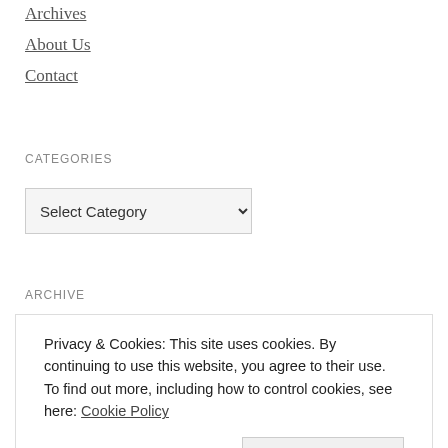Archives
About Us
Contact
CATEGORIES
Select Category
ARCHIVE
Privacy & Cookies: This site uses cookies. By continuing to use this website, you agree to their use.
To find out more, including how to control cookies, see here: Cookie Policy
Close and accept